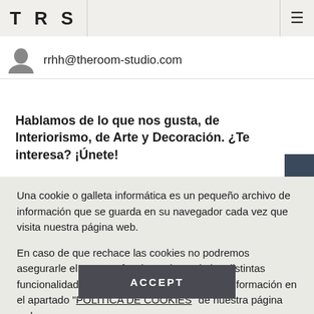T R S
rrhh@theroom-studio.com
Hablamos de lo que nos gusta, de Interiorismo, de Arte y Decoración. ¿Te interesa? ¡Únete!
Una cookie o galleta informática es un pequeño archivo de información que se guarda en su navegador cada vez que visita nuestra página web.
En caso de que rechace las cookies no podremos asegurarle el correcto funcionamiento de las distintas funcionalidades de nuestra página web. Más información en el apartado "POLÍTICA DE COOKIES" de nuestra página web.
ACCEPT